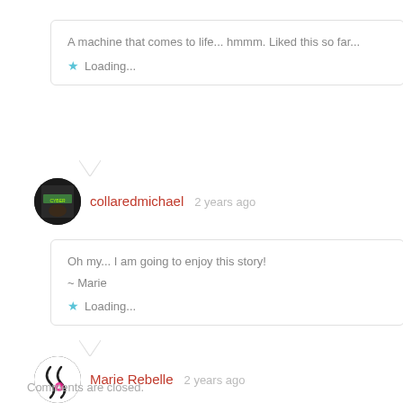A machine that comes to life... hmmm. Liked this so far...
Loading...
collaredmichael   2 years ago
Oh my... I am going to enjoy this story!
~ Marie
Loading...
Marie Rebelle   2 years ago
Comments are closed.